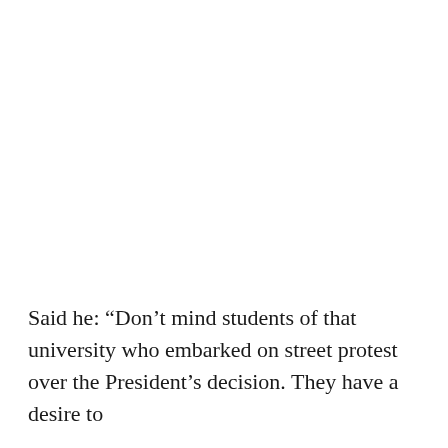Said he: “Don’t mind students of that university who embarked on street protest over the President’s decision. They have a desire to...